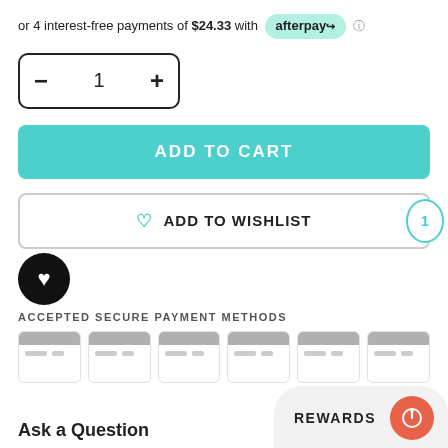or 4 interest-free payments of $24.33 with afterpay
[Figure (screenshot): Quantity selector box with minus, 1, plus buttons]
ADD TO CART
ADD TO WISHLIST
ACCEPTED SECURE PAYMENT METHODS
[Figure (other): Six payment card icons shown as placeholder cards with gray stripe]
Ask a Question
REWARDS